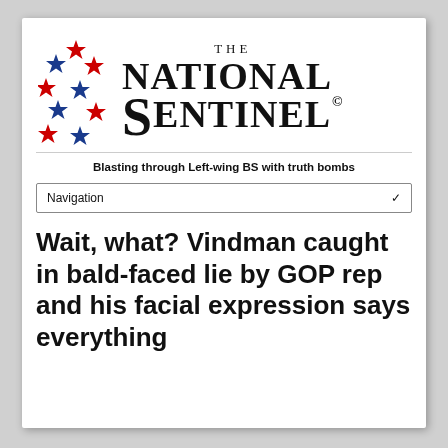[Figure (logo): The National Sentinel newspaper logo with red and blue stars on the left and the publication name in large serif font on the right]
Blasting through Left-wing BS with truth bombs
Navigation
Wait, what? Vindman caught in bald-faced lie by GOP rep and his facial expression says everything